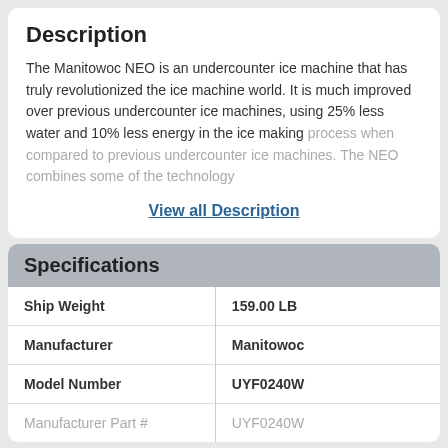Description
The Manitowoc NEO is an undercounter ice machine that has truly revolutionized the ice machine world. It is much improved over previous undercounter ice machines, using 25% less water and 10% less energy in the ice making process when compared to previous undercounter ice machines. The NEO combines some of the technology
View all Description
Specifications
| Specification | Value |
| --- | --- |
| Ship Weight | 159.00 LB |
| Manufacturer | Manitowoc |
| Model Number | UYF0240W |
| Manufacturer Part # | UYF0240W |